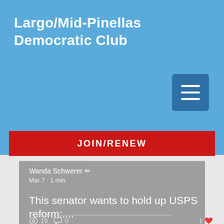Largo/Mid-Pinellas Democratic Club
[Figure (screenshot): Hamburger menu icon button with three white horizontal lines on a dark blue rounded square background]
JOIN/RENEW
Wanda Schwerer
Mar 7 · 1 min
This senator wants to hold up USPS reform:....
19 views  0 comments  1 like